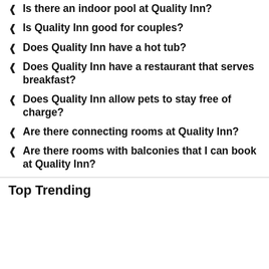Is there an indoor pool at Quality Inn?
Is Quality Inn good for couples?
Does Quality Inn have a hot tub?
Does Quality Inn have a restaurant that serves breakfast?
Does Quality Inn allow pets to stay free of charge?
Are there connecting rooms at Quality Inn?
Are there rooms with balconies that I can book at Quality Inn?
Top Trending